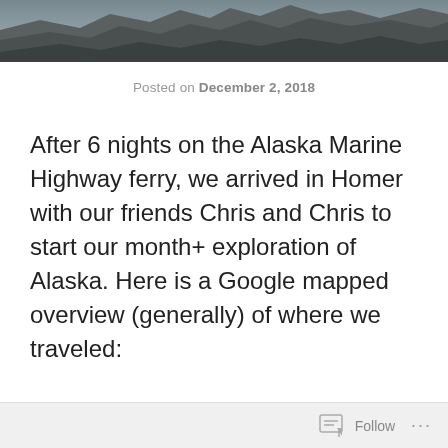[Figure (photo): Header photo showing rocky cliffs and terrain in muted gray-blue tones]
Posted on December 2, 2018
After 6 nights on the Alaska Marine Highway ferry, we arrived in Homer with our friends Chris and Chris to start our month+ exploration of Alaska. Here is a Google mapped overview (generally) of where we traveled:
Follow ...